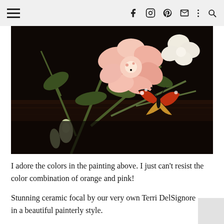≡  f  [instagram]  p  [email]  ⋮  [search]
[Figure (illustration): A painterly still life close-up showing a large pink peony bloom, white flower, green buds and stems, and a red admiral butterfly resting on the foliage, against a very dark almost black background, in classic Dutch-style oil painting technique.]
I adore the colors in the painting above. I just can't resist the color combination of orange and pink!
Stunning ceramic focal by our very own Terri DelSignore in a beautiful painterly style.